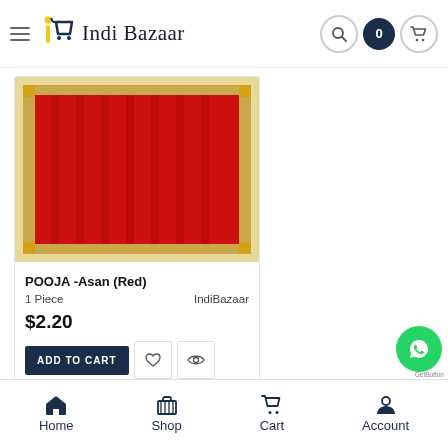Indi Bazaar
[Figure (photo): Red velvet pooja asan (mat) with gold border, product image on e-commerce site]
POOJA -Asan (Red)
1 Piece    IndiBazaar
$2.20
ADD TO CART
Home  Shop  Cart  Account